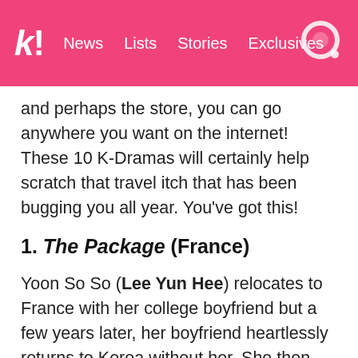k! News Lists Stories Exclusives
and perhaps the store, you can go anywhere you want on the internet! These 10 K-Dramas will certainly help scratch that travel itch that has been bugging you all year. You've got this!
1. The Package (France)
Yoon So So (Lee Yun Hee) relocates to France with her college boyfriend but a few years later, her boyfriend heartlessly returns to Korea without her. She then works as a tour guide for “Luxurious Premium Tour Packages: 1 Week in France”. The seven tourists in this show include a man who came without his girlfriend, a couple that has been together for 7 years, an older couple of a complaining husband and his